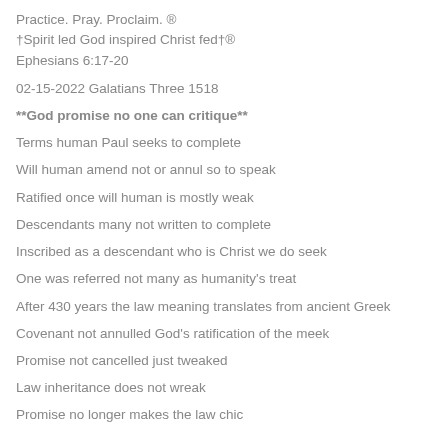Practice. Pray. Proclaim. ®
†Spirit led God inspired Christ fed†®
Ephesians 6:17-20
02-15-2022 Galatians Three 1518
**God promise no one can critique**
Terms human Paul seeks to complete
Will human amend not or annul so to speak
Ratified once will human is mostly weak
Descendants many not written to complete
Inscribed as a descendant who is Christ we do seek
One was referred not many as humanity's treat
After 430 years the law meaning translates from ancient Greek
Covenant not annulled God's ratification of the meek
Promise not cancelled just tweaked
Law inheritance does not wreak
Promise no longer makes the law chic